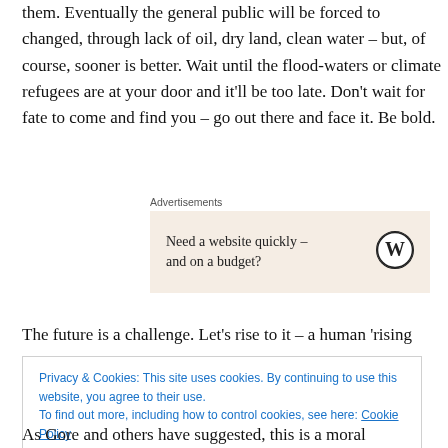them. Eventually the general public will be forced to changed, through lack of oil, dry land, clean water – but, of course, sooner is better. Wait until the flood-waters or climate refugees are at your door and it'll be too late. Don't wait for fate to come and find you – go out there and face it. Be bold.
Advertisements
[Figure (other): Advertisement box with text 'Need a website quickly – and on a budget?' and WordPress logo]
The future is a challenge. Let's rise to it – a human 'rising
Privacy & Cookies: This site uses cookies. By continuing to use this website, you agree to their use. To find out more, including how to control cookies, see here: Cookie Policy
As Gore and others have suggested, this is a moral